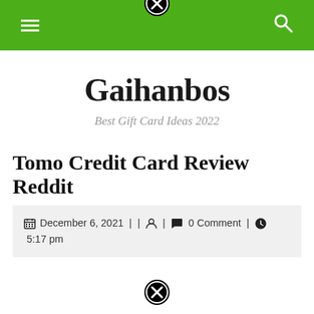Gaihanbos — navigation bar with menu and search
Gaihanbos
Best Gift Card Ideas 2022
Tomo Credit Card Review Reddit
December 6, 2021 | | user icon | 0 Comment | 5:17 pm